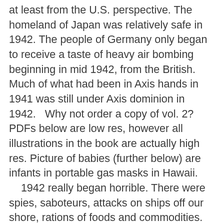at least from the U.S. perspective.  The homeland of Japan was relatively safe in 1942.  The people of Germany only began to receive a taste of heavy air bombing beginning in mid 1942, from the British.  Much of what had been in Axis hands in 1941 was still under Axis dominion in 1942.   Why not order a copy of vol. 2?  PDFs below are low res, however all illustrations in the book are actually high res.  Picture of babies (further below) are infants in portable gas masks in Hawaii.
    1942 really began horrible.  There were spies, saboteurs, attacks on ships off our shore, rations of foods and commodities.  The entire Philippines was captured by the Japanese, and their rules and laws became more vicious as time passed. Ditto for all of Asia.  Moreover, readers of this volume will see that things did not get that much better until past summer.  There were lots of air raids.  And, plenty of anti-aircraft batteries, although not like THAAD.